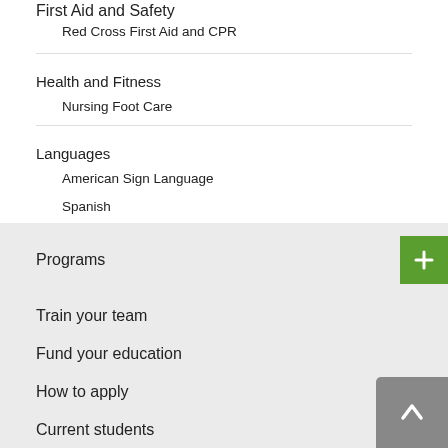First Aid and Safety
Red Cross First Aid and CPR
Health and Fitness
Nursing Foot Care
Languages
American Sign Language
Spanish
Programs
Train your team
Fund your education
How to apply
Current students
Gift a course